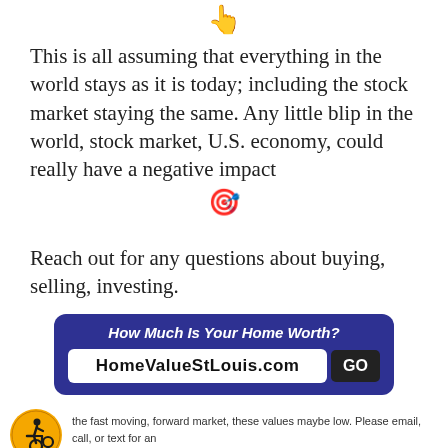[Figure (illustration): Pointing finger emoji (👆) centered at top of page]
This is all assuming that everything in the world stays as it is today; including the stock market staying the same. Any little blip in the world, stock market, U.S. economy, could really have a negative impact
[Figure (illustration): Target/bullseye emoji (🎯) centered]
Reach out for any questions about buying, selling, investing.
[Figure (infographic): Dark blue banner with text 'How Much Is Your Home Worth?' and URL field showing 'HomeValueStLouis.com' with a GO button]
the fast moving, forward market, these values maybe low. Please email, call, or text for an accurate value.